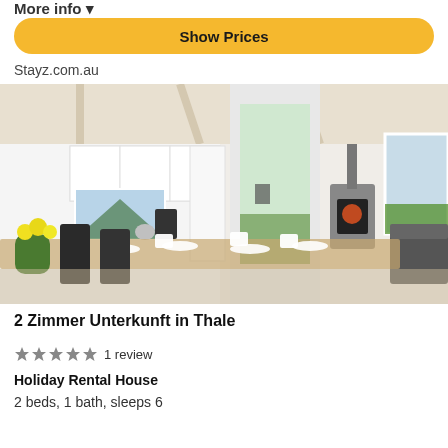More info ▾
Show Prices
Stayz.com.au
[Figure (photo): Interior of a bright, modern holiday rental house showing a dining area with white dishes set on a wooden table with yellow flowers, dark chairs, a white kitchen in the background, a wood-burning stove, and large glass doors opening to an outdoor patio with green grass.]
2 Zimmer Unterkunft in Thale
★★★★★ 1 review
Holiday Rental House
2 beds, 1 bath, sleeps 6